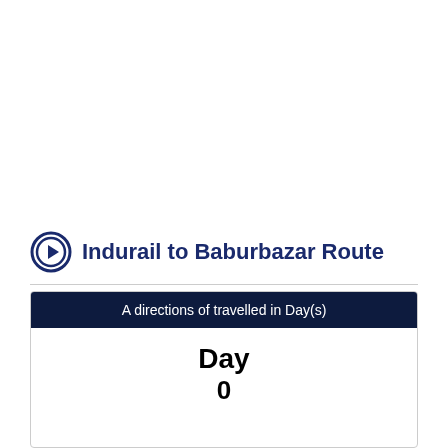Indurail to Baburbazar Route
A directions of travelled in Day(s)
Day
0